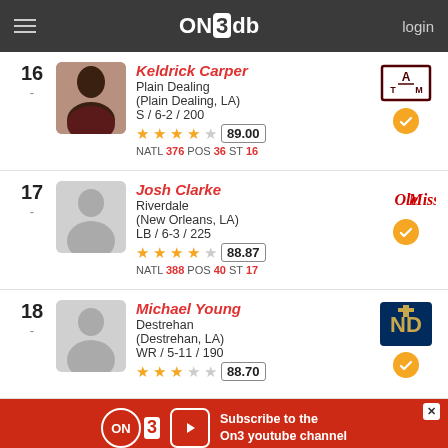On3db login
16 - Keldrick Carper, Plain Dealing, (Plain Dealing, LA), S / 6-2 / 200, Rating: 89.00 (4 stars), NATL 376 POS 36 ST 16, Committed to Texas A&M
17 - Josh Clarke, Riverdale, (New Orleans, LA), LB / 6-3 / 225, Rating: 88.87 (4 stars), NATL 388 POS 40 ST 17, Committed to Ole Miss
18 - Michael Young, Destrehan, (Destrehan, LA), WR / 5-11 / 190, Rating: 88.70 (3 stars), Committed to Notre Dame
Subscribe to the On3 youtube channel